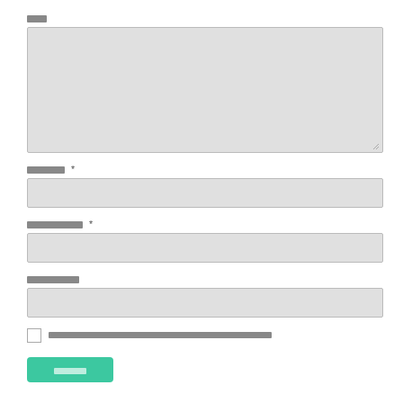□□
[Figure (other): Textarea input field (empty, gray background)]
□□□□ *
[Figure (other): Single-line text input field (empty, gray background)]
□□□□□□□ *
[Figure (other): Single-line text input field (empty, gray background)]
□□□□□□□
[Figure (other): Single-line text input field (empty, gray background)]
□ □□□□□□□□□□□□□□□□□□□□□□□□□□□□□□□□□□□□□□□□□□□
□□□□